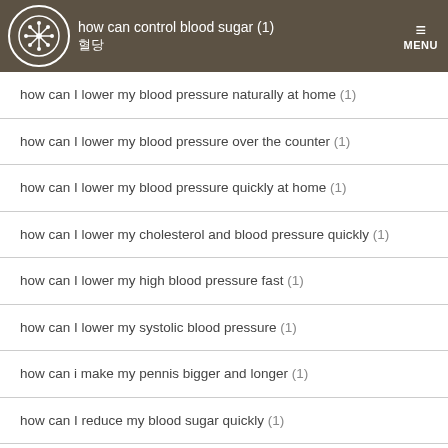how can control blood sugar (1) 혈당
how can I lower my blood pressure naturally at home (1)
how can I lower my blood pressure over the counter (1)
how can I lower my blood pressure quickly at home (1)
how can I lower my cholesterol and blood pressure quickly (1)
how can I lower my high blood pressure fast (1)
how can I lower my systolic blood pressure (1)
how can i make my pennis bigger and longer (1)
how can I reduce my blood sugar quickly (1)
how can the elderly control their blood sugar (1)
how can you treat type 2 diabetes (1)